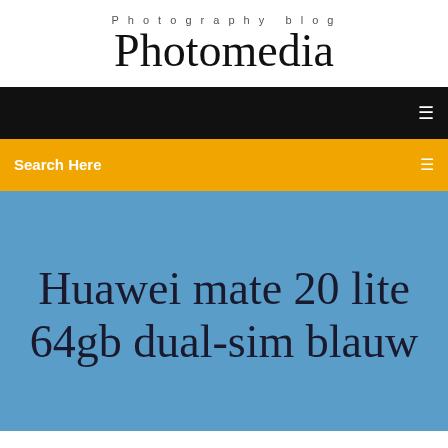Photography blog
Photomedia
Search Here
Huawei mate 20 lite 64gb dual-sim blauw